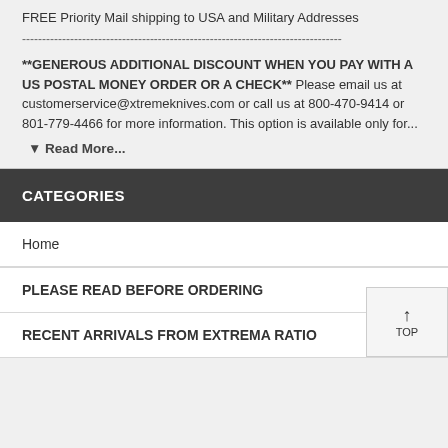FREE Priority Mail shipping to USA and Military Addresses
--------------------------------------------------------------------------------
**GENEROUS ADDITIONAL DISCOUNT WHEN YOU PAY WITH A US POSTAL MONEY ORDER OR A CHECK** Please email us at customerservice@xtremeknives.com or call us at 800-470-9414 or 801-779-4466 for more information. This option is available only for...
▼ Read More...
CATEGORIES
Home
PLEASE READ BEFORE ORDERING
RECENT ARRIVALS FROM EXTREMA RATIO